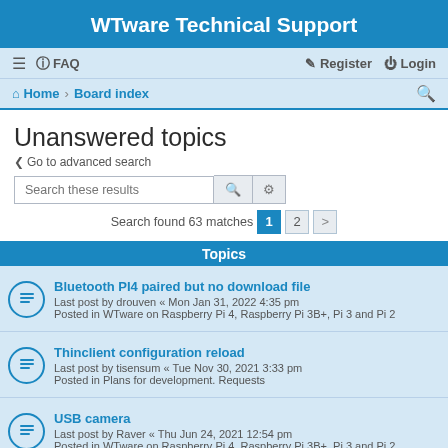WTware Technical Support
FAQ  Register  Login
Home · Board index
Unanswered topics
< Go to advanced search
Search these results
Search found 63 matches  1  2  >
Topics
Bluetooth PI4 paired but no download file
Last post by drouven « Mon Jan 31, 2022 4:35 pm
Posted in WTware on Raspberry Pi 4, Raspberry Pi 3B+, Pi 3 and Pi 2
Thinclient configuration reload
Last post by tisensum « Tue Nov 30, 2021 3:33 pm
Posted in Plans for development. Requests
USB camera
Last post by Raver « Thu Jun 24, 2021 12:54 pm
Posted in WTware on Raspberry Pi 4, Raspberry Pi 3B+, Pi 3 and Pi 2
problem connect Wifi Wtware